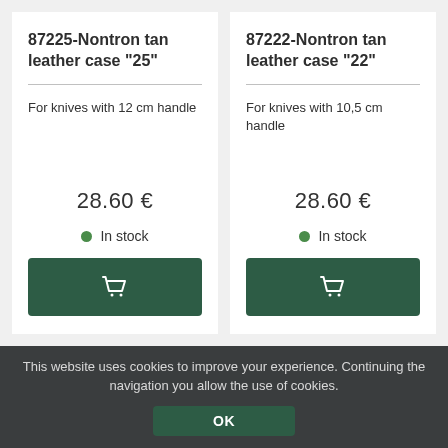87225-Nontron tan leather case "25"
For knives with 12 cm handle
28.60 €
In stock
87222-Nontron tan leather case "22"
For knives with 10,5 cm handle
28.60 €
In stock
This website uses cookies to improve your experience. Continuing the navigation you allow the use of cookies.